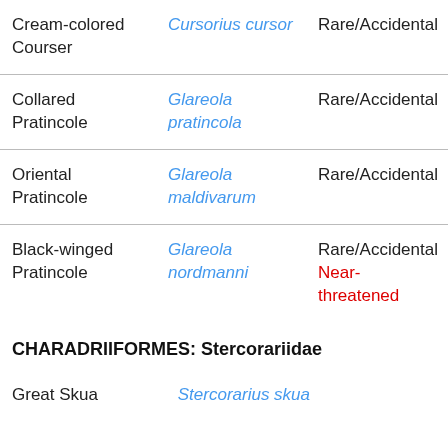| Common Name | Scientific Name | Status |
| --- | --- | --- |
| Cream-colored Courser | Cursorius cursor | Rare/Accidental |
| Collared Pratincole | Glareola pratincola | Rare/Accidental |
| Oriental Pratincole | Glareola maldivarum | Rare/Accidental |
| Black-winged Pratincole | Glareola nordmanni | Rare/Accidental
Near-threatened |
CHARADRIIFORMES: Stercorariidae
| Common Name | Scientific Name | Status |
| --- | --- | --- |
| Great Skua | Stercorarius skua |  |